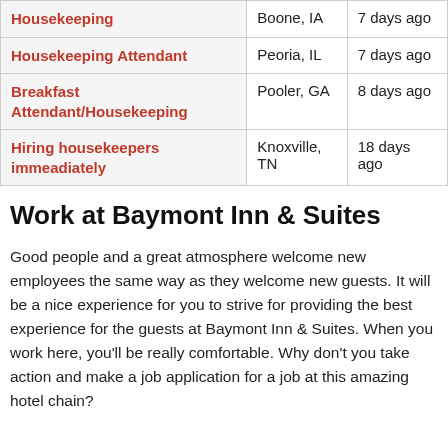| Job Title | Location | Posted |
| --- | --- | --- |
| Housekeeping | Boone, IA | 7 days ago |
| Housekeeping Attendant | Peoria, IL | 7 days ago |
| Breakfast Attendant/Housekeeping | Pooler, GA | 8 days ago |
| Hiring housekeepers immeadiately | Knoxville, TN | 18 days ago |
Work at Baymont Inn & Suites
Good people and a great atmosphere welcome new employees the same way as they welcome new guests. It will be a nice experience for you to strive for providing the best experience for the guests at Baymont Inn & Suites. When you work here, you'll be really comfortable. Why don't you take action and make a job application for a job at this amazing hotel chain?